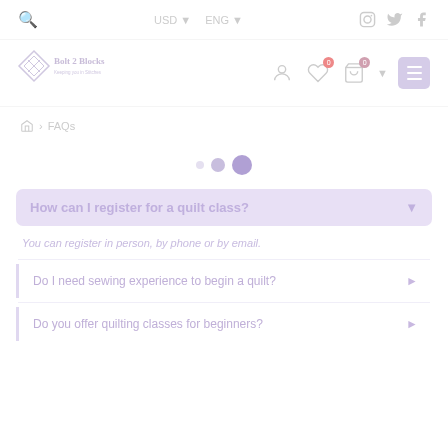USD ▾  ENG ▾  [Instagram] [Twitter] [Facebook]
[Figure (logo): Bolt 2 Blocks logo - diamond shape with scissors graphic and text 'Bolt 2 Blocks, Keeping you in Stitches']
• •• (pagination dots)
How can I register for a quilt class?
You can register in person, by phone or by email.
Do I need sewing experience to begin a quilt?
Do you offer quilting classes for beginners?